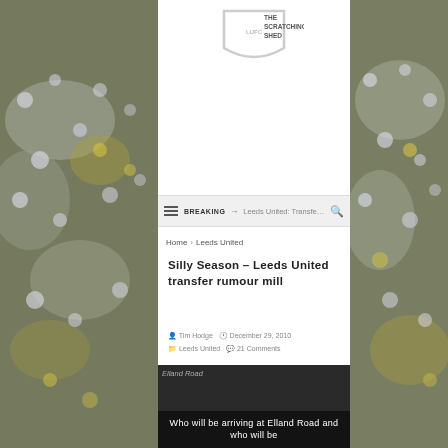[Figure (photo): Football crowd with yellow and white shirts visible on the left side]
[Figure (photo): Football crowd with yellow and white shirts visible on the right side]
[Figure (logo): The Scratching Shed logo - shield with text]
BREAKING → Leeds United: Transfers ...
Home > Leeds United
Silly Season – Leeds United transfer rumour mill
Tim Hodge  December 29, 2010  Leeds United  21 Comments
[Figure (photo): Elland Road stadium image]
Who will be arriving at Elland Road and who will be